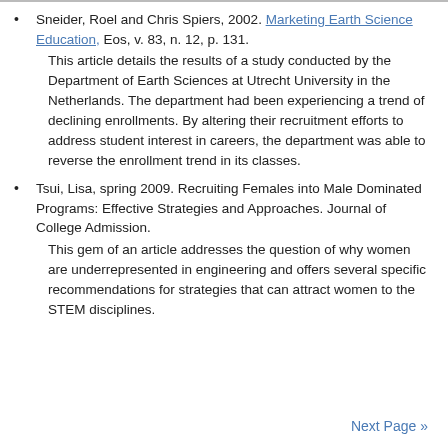Sneider, Roel and Chris Spiers, 2002. Marketing Earth Science Education, Eos, v. 83, n. 12, p. 131.
This article details the results of a study conducted by the Department of Earth Sciences at Utrecht University in the Netherlands. The department had been experiencing a trend of declining enrollments. By altering their recruitment efforts to address student interest in careers, the department was able to reverse the enrollment trend in its classes.
Tsui, Lisa, spring 2009. Recruiting Females into Male Dominated Programs: Effective Strategies and Approaches. Journal of College Admission.
This gem of an article addresses the question of why women are underrepresented in engineering and offers several specific recommendations for strategies that can attract women to the STEM disciplines.
Next Page »